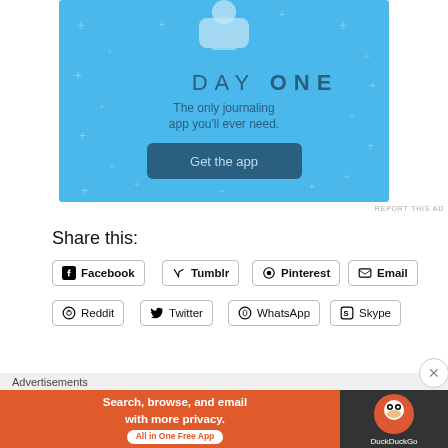[Figure (illustration): Day One journaling app advertisement banner with blue background. Shows text 'DAY ONE', 'The only journaling app you'll ever need.' and a 'Get the app' button.]
REPORT THIS AD
Share this:
Facebook
Tumblr
Pinterest
Email
Print
Reddit
Twitter
WhatsApp
Skype
[Figure (illustration): Like button with star icon and user avatars showing followers who liked the content.]
[Figure (illustration): DuckDuckGo advertisement banner: 'Search, browse, and email with more privacy. All in One Free App' with DuckDuckGo logo.]